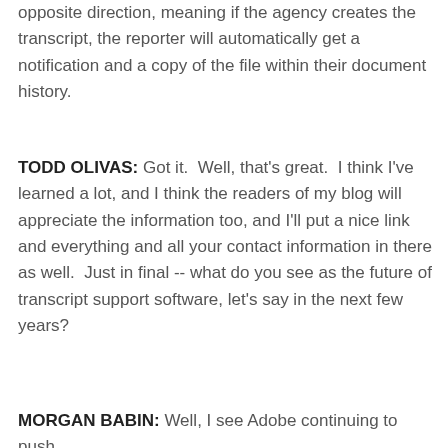opposite direction, meaning if the agency creates the transcript, the reporter will automatically get a notification and a copy of the file within their document history.
TODD OLIVAS: Got it.  Well, that's great.  I think I've learned a lot, and I think the readers of my blog will appreciate the information too, and I'll put a nice link and everything and all your contact information in there as well.  Just in final -- what do you see as the future of transcript support software, let's say in the next few years?
MORGAN BABIN: Well, I see Adobe continuing to push